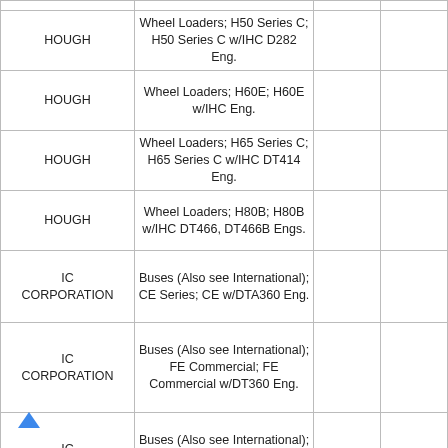| Make | Description |  |  |
| --- | --- | --- | --- |
| HOUGH | Wheel Loaders; H50 Series C; H50 Series C w/IHC D282 Eng. |  |  |
| HOUGH | Wheel Loaders; H60E; H60E w/IHC Eng. |  |  |
| HOUGH | Wheel Loaders; H65 Series C; H65 Series C w/IHC DT414 Eng. |  |  |
| HOUGH | Wheel Loaders; H80B; H80B w/IHC DT466, DT466B Engs. |  |  |
| IC CORPORATION | Buses (Also see International); CE Series; CE w/DTA360 Eng. |  |  |
| IC CORPORATION | Buses (Also see International); FE Commercial; FE Commercial w/DT360 Eng. |  |  |
| IC CORPORATION | Buses (Also see International); FE Integrated; FE Integrated w/DT360 Eng. |  |  |
|  |  |  |  |